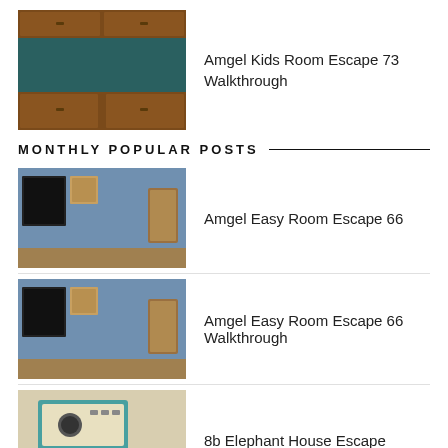[Figure (screenshot): Game screenshot of a kids room escape game with brown wooden cabinets on dark teal background]
Amgel Kids Room Escape 73 Walkthrough
MONTHLY POPULAR POSTS
[Figure (screenshot): Game screenshot showing a blue room with black framed windows and wooden accents]
Amgel Easy Room Escape 66
[Figure (screenshot): Game screenshot showing a blue room with black framed windows and wooden accents]
Amgel Easy Room Escape 66 Walkthrough
[Figure (screenshot): Game screenshot showing an elephant house escape scene with control panels]
8b Elephant House Escape
CATEGORIES
ACTION GAMES (51)